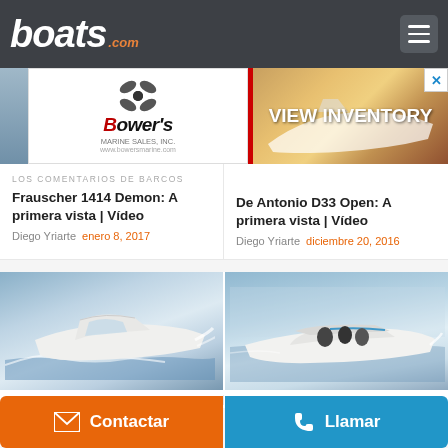boats.com
[Figure (screenshot): Advertisement banner for Bowers Marine Sales with VIEW INVENTORY call to action and boat image]
LOS COMENTARIOS DE BARCOS
Frauscher 1414 Demon: A primera vista | Vídeo
Diego Yriarte  enero 8, 2017
De Antonio D33 Open: A primera vista | Vídeo
Diego Yriarte  diciembre 20, 2016
[Figure (photo): White sport cruiser boat speeding through water, aerial view]
[Figure (photo): White cabin cruiser boat on blue sea, people on board]
LOS COMENTARIOS DE BARCOS
LOS COMENTARIOS DE BARCOS